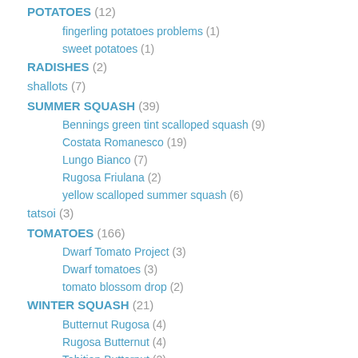POTATOES (12)
fingerling potatoes problems (1)
sweet potatoes (1)
RADISHES (2)
shallots (7)
SUMMER SQUASH (39)
Bennings green tint scalloped squash (9)
Costata Romanesco (19)
Lungo Bianco (7)
Rugosa Friulana (2)
yellow scalloped summer squash (6)
tatsoi (3)
TOMATOES (166)
Dwarf Tomato Project (3)
Dwarf tomatoes (3)
tomato blossom drop (2)
WINTER SQUASH (21)
Butternut Rugosa (4)
Rugosa Butternut (4)
Tahitian Butternut (2)